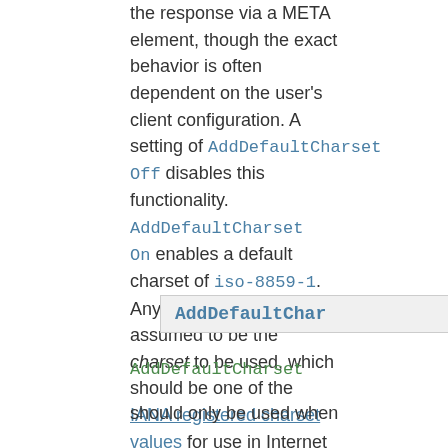the response via a META element, though the exact behavior is often dependent on the user's client configuration. A setting of AddDefaultCharset Off disables this functionality. AddDefaultCharset On enables a default charset of iso-8859-1. Any other value is assumed to be the charset to be used, which should be one of the IANA registered charset values for use in Internet media types (MIME types). For example:
AddDefaultChar
AddDefaultCharset
should only be used when